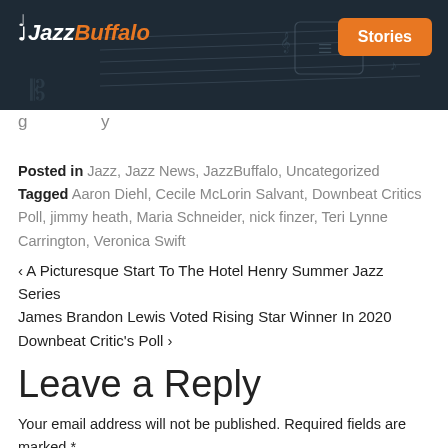JazzBuffalo | Stories
Posted in Jazz, Jazz News, JazzBuffalo, Uncategorized  Tagged Aaron Diehl, Cecile McLorin Salvant, Downbeat Critics Poll, jimmy heath, Maria Schneider, nick finzer, Teri Lynne Carrington, Veronica Swift
< A Picturesque Start To The Hotel Henry Summer Jazz Series
James Brandon Lewis Voted Rising Star Winner In 2020 Downbeat Critic's Poll >
Leave a Reply
Your email address will not be published. Required fields are marked *